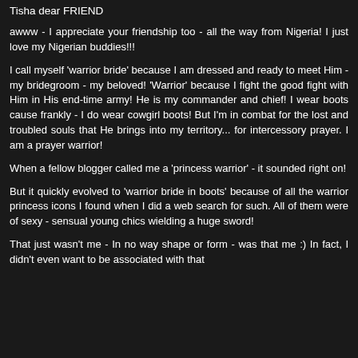Tisha dear FRIEND
awww - I appreciate your friendship too - all the way from Nigeria! I just love my Nigerian buddies!!!
I call myself 'warrior bride' because I am dressed and ready to meet Him - my bridegroom - my beloved! 'Warrior' because I fight the good fight with Him in His end-time army! He is my commander and chief! I wear boots cause frankly - I do wear cowgirl boots! But I'm in combat for the lost and troubled souls that He brings into my territory... for intercessory prayer. I am a prayer warrior!
When a fellow blogger called me a 'princess warrior' - it sounded right on!
But it quickly evolved to 'warrior bride in boots' because of all the warrior princess icons I found when I did a web search for such. All of them were of sexy - sensual young chics wielding a huge sword!
That just wasn't me - In no way shape or form - was that me :) In fact, I didn't even want to be associated with that